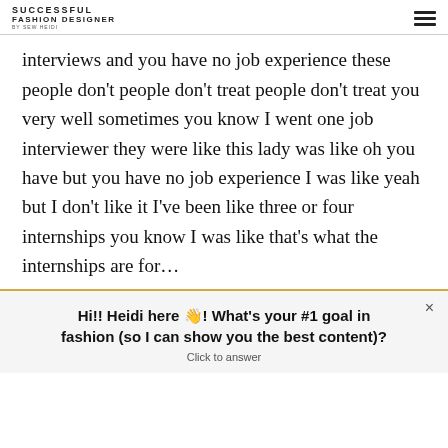SUCCESSFUL FASHION DESIGNER BY SEW HEIDI
interviews and you have no job experience these people don't people don't treat people don't treat you very well sometimes you know I went one job interviewer they were like this lady was like oh you have but you have no job experience I was like yeah but I don't like it I've been like three or four internships you know I was like that's what the internships are for…
Hi!! Heidi here 👋! What's your #1 goal in fashion (so I can show you the best content)?
Click to answer